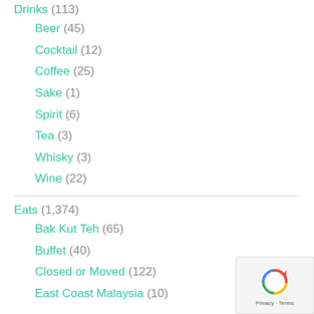Drinks (113)
Beer (45)
Cocktail (12)
Coffee (25)
Sake (1)
Spirit (6)
Tea (3)
Whisky (3)
Wine (22)
Eats (1,374)
Bak Kut Teh (65)
Buffet (40)
Closed or Moved (122)
East Coast Malaysia (10)